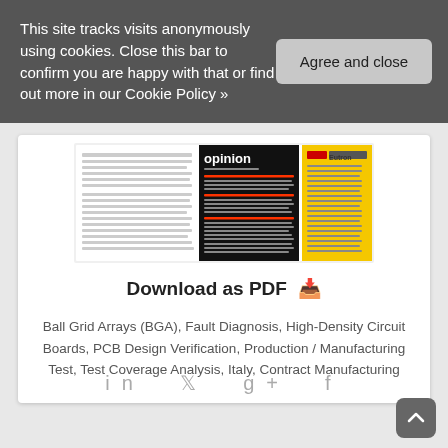This site tracks visits anonymously using cookies. Close this bar to confirm you are happy with that or find out more in our Cookie Policy »
Agree and close
[Figure (screenshot): Thumbnail preview of a document page with 'opinion' header in black and yellow sections]
Download as PDF ⬇
Ball Grid Arrays (BGA), Fault Diagnosis, High-Density Circuit Boards, PCB Design Verification, Production / Manufacturing Test, Test Coverage Analysis, Italy, Contract Manufacturing
in  𝕥  g+  f